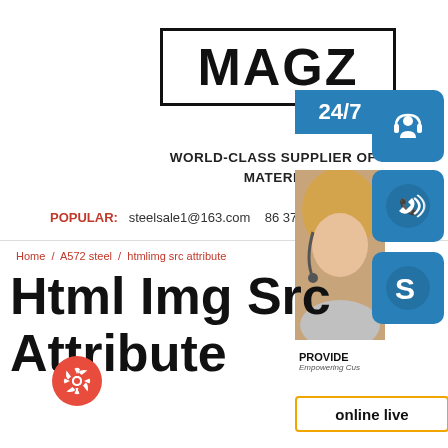[Figure (logo): MAGZ logo in bold black text inside a rectangular border box]
WORLD-CLASS SUPPLIER OF S MATERIAL
POPULAR: steelsale1@163.com 86 371 861
[Figure (infographic): Right side panel showing 24/7 bar, customer support person photo, three blue icon boxes (headset, phone, Skype icons), PROVIDE / Empowering Customers text, and online live button]
Home / A572 steel / htmlimg src attribute
Html Img Src Attribute
[Figure (other): Red circular gear settings button]